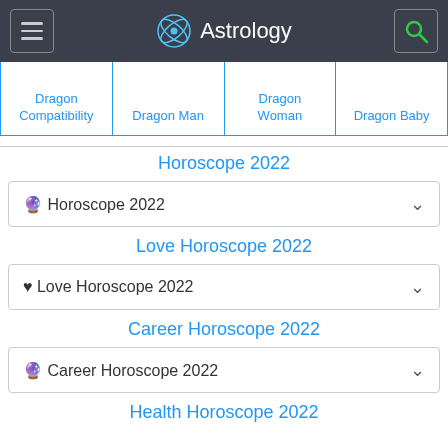Astrology
| Dragon Compatibility | Dragon Man | Dragon Woman | Dragon Baby |
| --- | --- | --- | --- |
Horoscope 2022
🔮 Horoscope 2022
Love Horoscope 2022
♥ Love Horoscope 2022
Career Horoscope 2022
🔮 Career Horoscope 2022
Health Horoscope 2022